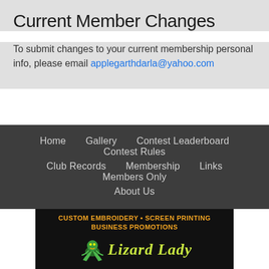Current Member Changes
To submit changes to your current membership personal info, please email applegarthdarla@yahoo.com
Home  Gallery  Contest Leaderboard  Contest Rules  Club Records  Membership  Links  Members Only  About Us
[Figure (photo): Advertisement banner for Lizard Lady custom embroidery, screen printing, and business promotions on a dark background with gecko illustration and yellow-green stylized text.]